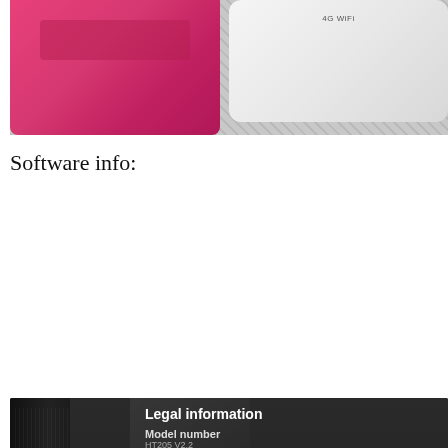[Figure (photo): Photo of two mobile wireless devices — a pink/magenta device on the left and a white 4G WiFi device on the right, placed on a fabric surface]
Software info:
[Figure (photo): Photo of a device screen showing Legal information including: Model number (HT206 V2.2), Android version (2.3.3), Baseband version (Unknown), Kernel version (2.6.35.7-infoTM, hexianghua@ubuntu #29), Build number (GRI40)]